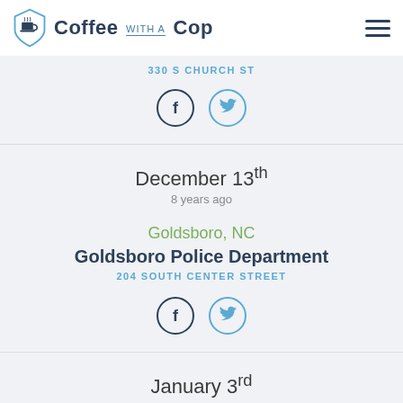Coffee with a Cop
330 S CHURCH ST
[Figure (illustration): Facebook and Twitter social share icons (circular buttons)]
December 13th
8 years ago
Goldsboro, NC
Goldsboro Police Department
204 SOUTH CENTER STREET
[Figure (illustration): Facebook and Twitter social share icons (circular buttons)]
January 3rd
8 years ago